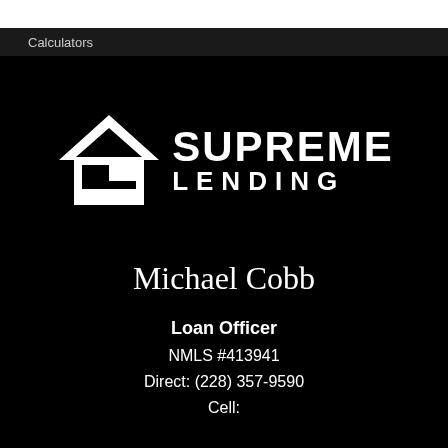Calculators
[Figure (logo): Supreme Lending logo: white house/arrow icon with stylized S shape, next to bold white text reading SUPREME LENDING]
Michael Cobb
Loan Officer
NMLS #413941
Direct: (228) 357-9590
Cell: